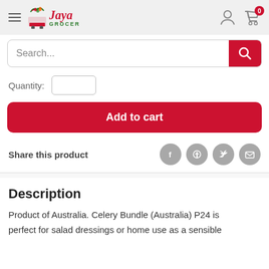[Figure (logo): Jaya Grocer logo with hamburger menu icon on left, user and cart icons on right]
[Figure (screenshot): Search bar with placeholder text 'Search...' and red search button]
Quantity:
[Figure (screenshot): Add to cart red button]
Share this product
Description
Product of Australia. Celery Bundle (Australia) P24 is perfect for salad dressings or home use as a sensible